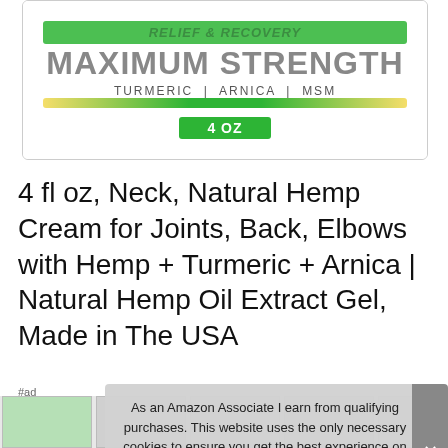[Figure (photo): Product photo of a hemp cream jar showing 'MAXIMUM STRENGTH', 'TURMERIC | ARNICA | MSM', and '4 OZ' on a green and white label]
4 fl oz, Neck, Natural Hemp Cream for Joints, Back, Elbows with Hemp + Turmeric + Arnica | Natural Hemp Oil Extract Gel, Made in The USA
#ad
As an Amazon Associate I earn from qualifying purchases. This website uses the only necessary cookies to ensure you get the best experience on our website. More information